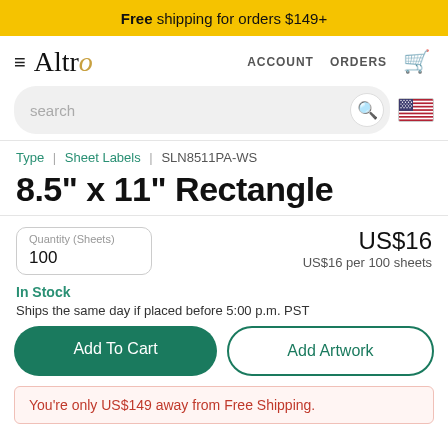Free shipping for orders $149+
[Figure (logo): Altro brand logo with golden slash]
search
ACCOUNT   ORDERS
Type | Sheet Labels | SLN8511PA-WS
8.5" x 11" Rectangle
Quantity (Sheets)
100
US$16
US$16 per 100 sheets
In Stock
Ships the same day if placed before 5:00 p.m. PST
Add To Cart
Add Artwork
You're only US$149 away from Free Shipping.